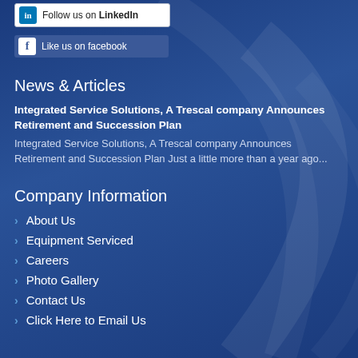[Figure (other): LinkedIn follow button: white background with LinkedIn teal icon and text 'Follow us on LinkedIn']
[Figure (other): Facebook like button: blue background with white 'f' icon and text 'Like us on facebook']
News & Articles
Integrated Service Solutions, A Trescal company Announces Retirement and Succession Plan
Integrated Service Solutions, A Trescal company Announces Retirement and Succession Plan Just a little more than a year ago...
Company Information
About Us
Equipment Serviced
Careers
Photo Gallery
Contact Us
Click Here to Email Us